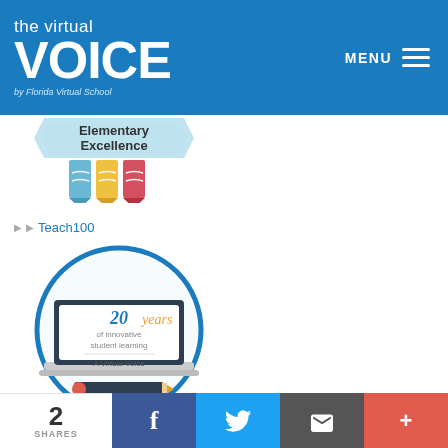[Figure (logo): The Virtual Voice by Florida Virtual School logo — white text on blue background with menu icon]
[Figure (illustration): Elementary Excellence banner/badge illustration with colored pencils]
Teach100
[Figure (illustration): 20 years of innovative student learning — A Virtual Voice blog series. Illustration of a laptop inside a circle with a pencil.]
2 SHARES